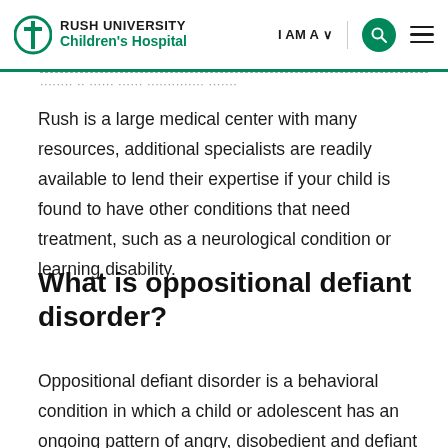RUSH UNIVERSITY Children's Hospital | I AM A | [search] [menu]
Rush is a large medical center with many resources, additional specialists are readily available to lend their expertise if your child is found to have other conditions that need treatment, such as a neurological condition or learning disability.
What is oppositional defiant disorder?
Oppositional defiant disorder is a behavioral condition in which a child or adolescent has an ongoing pattern of angry, disobedient and defiant